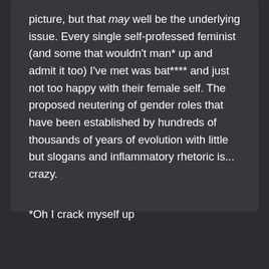picture, but that may well be the underlying issue. Every single self-professed feminist (and some that wouldn't man* up and admit it too) I've met was bat**** and just not too happy with their female self. The proposed neutering of gender roles that have been established by hundreds of thousands of years of evolution with little but slogans and inflammatory rhetoric is... crazy.
*Oh I crack myself up